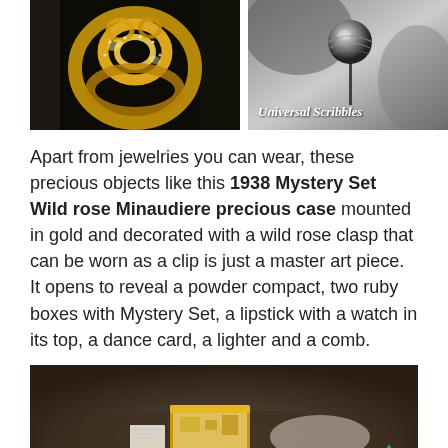[Figure (photo): Left: Close-up photo of a gold jewelry knot/ring piece against dark background. Right: Black and white photo of a small spherical bead on a thin stand with 'Universal Scribbles' watermark text.]
Apart from jewelries you can wear, these precious objects like this 1938 Mystery Set Wild rose Minaudiere precious case mounted in gold and decorated with a wild rose clasp that can be worn as a clip is just a master art piece. It opens to reveal a powder compact, two ruby boxes with Mystery Set, a lipstick with a watch in its top, a dance card, a lighter and a comb.
[Figure (photo): Photo of a gold Minaudiere precious case open on a dark surface, showing its interior contents including small items arranged inside.]